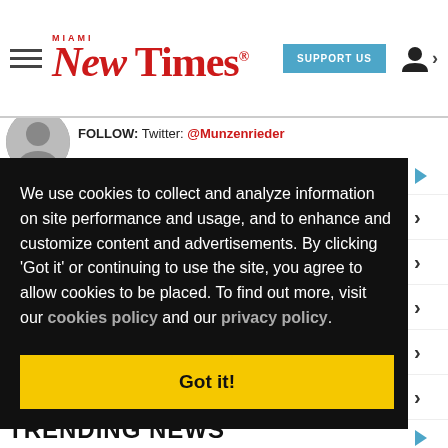Miami New Times | SUPPORT US
FOLLOW: Twitter: @Munzenrieder
We use cookies to collect and analyze information on site performance and usage, and to enhance and customize content and advertisements. By clicking 'Got it' or continuing to use the site, you agree to allow cookies to be placed. To find out more, visit our cookies policy and our privacy policy.
Got it!
TRENDING NEWS